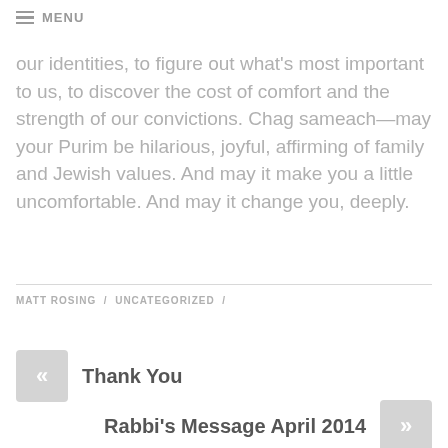≡ MENU
our identities, to figure out what's most important to us, to discover the cost of comfort and the strength of our convictions. Chag sameach—may your Purim be hilarious, joyful, affirming of family and Jewish values. And may it make you a little uncomfortable. And may it change you, deeply.
MATT ROSING / UNCATEGORIZED /
« Thank You
Rabbi's Message April 2014 »